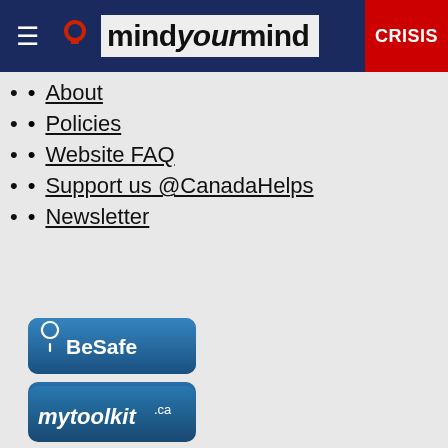mindyourmind CRISIS
About
Policies
Website FAQ
Support us @CanadaHelps
Newsletter
[Figure (logo): BeSafe button with location pin icon]
[Figure (logo): mytoolkit.ca button]
[Figure (logo): mindBYTES button]
[Figure (logo): youthexperts button]